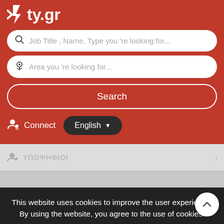[Figure (screenshot): ty.gr website header with red background, logo showing '4ty.gr' with a lightning bolt icon]
Job Title , Name, Type you 're looking for...
Area you 're looking for...
Search
Connect
English
This website uses cookies to improve the user experience. By using the website, you agree to the use of cookies.
Agree